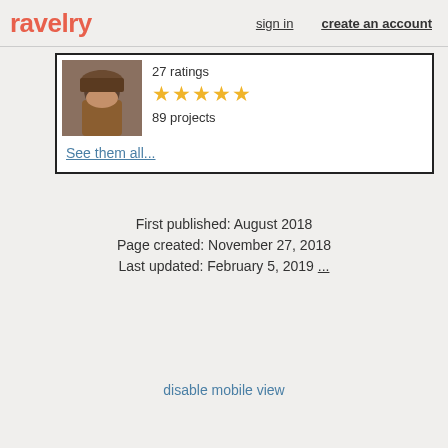ravelry  sign in  create an account
[Figure (photo): Thumbnail photo of a woman wearing a brown knit hat]
27 ratings
[Figure (other): 4.5 star rating shown as 5 golden stars]
89 projects
See them all...
First published: August 2018
Page created: November 27, 2018
Last updated: February 5, 2019 ...
disable mobile view